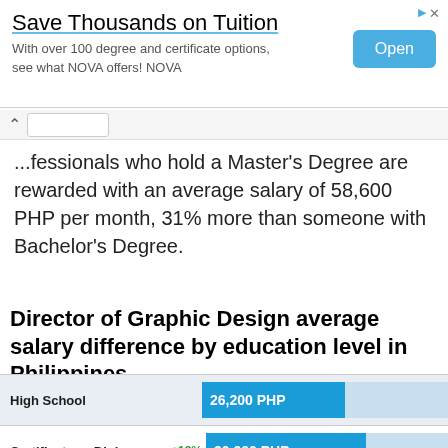[Figure (screenshot): Advertisement banner: 'Save Thousands on Tuition' with 'Open' button. With over 100 degree and certificate options, see what NOVA offers! NOVA]
...fessionals who hold a Master's Degree are rewarded with an average salary of 58,600 PHP per month, 31% more than someone with Bachelor's Degree.
Director of Graphic Design average salary difference by education level in Philippines
| Education Level | Change | Average Salary |
| --- | --- | --- |
| High School |  | 26,200 PHP |
| Certificate or Diploma | +18% | 30,900 PHP |
| Bachelor's Degree | +45% | 44,800 PHP |